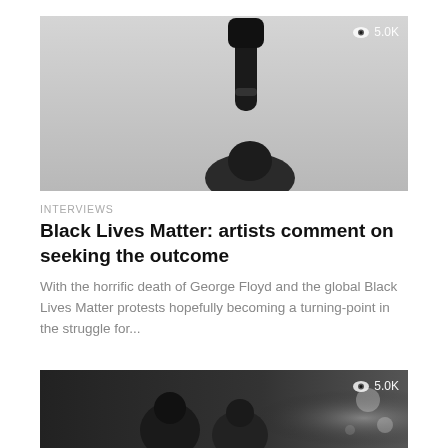[Figure (photo): Black and white photo of a person with fist raised in the air against a grey sky, protest image]
INTERVIEWS
Black Lives Matter: artists comment on seeking the outcome
With the horrific death of George Floyd and the global Black Lives Matter protests hopefully becoming a turning-point in the struggle for...
[Figure (photo): Dark black and white photo of people at what appears to be a music or protest event, partially visible]